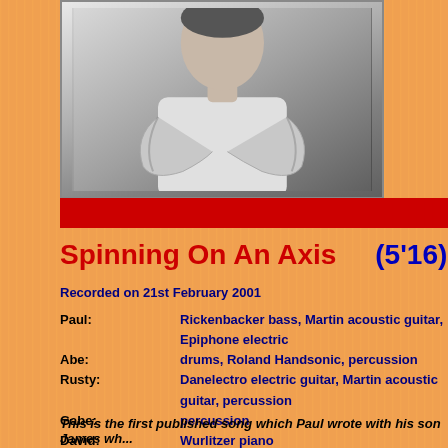[Figure (photo): Black and white photo of a man with arms crossed, wearing a white t-shirt, upper body visible]
Spinning On An Axis    (5'16)
Recorded on 21st February 2001
Paul:    Rickenbacker bass, Martin acoustic guitar, Epiphone electric
Abe:    drums, Roland Handsonic, percussion
Rusty:    Danelectro electric guitar, Martin acoustic guitar, percussion
Gabe:    percussion
David:    Wurlitzer piano
James:    percussion
This is the first published song which Paul wrote with his son James wh...